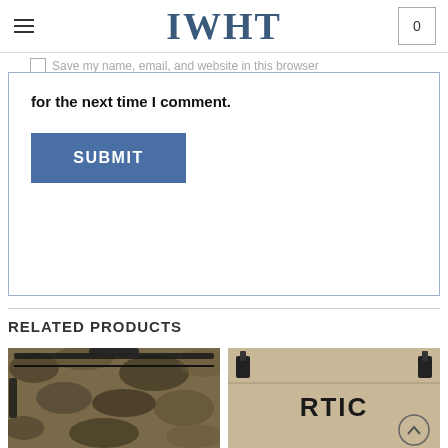IWHT
Save my name, email, and website in this browser
for the next time I comment.
SUBMIT
RELATED PRODUCTS
[Figure (photo): Camo soft cooler bag with black zippers and handles]
[Figure (photo): RTIC hard cooler in tan/beige color with black latches and RTIC logo]